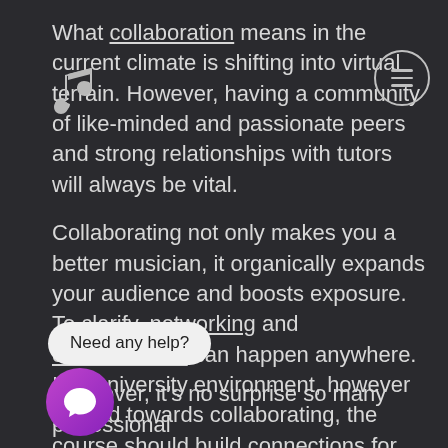What collaboration means in the current climate is shifting into virtual terrain. However, having a community of like-minded and passionate peers and strong relationships with tutors will always be vital.
Collaborating not only makes you a better musician, it organically expands your audience and boosts exposure. To clarify, networking and collaborations can happen anywhere. In a university environment, however geared towards collaborating, the course should build connections for you while you
Moreover, it's no surprise so many professional